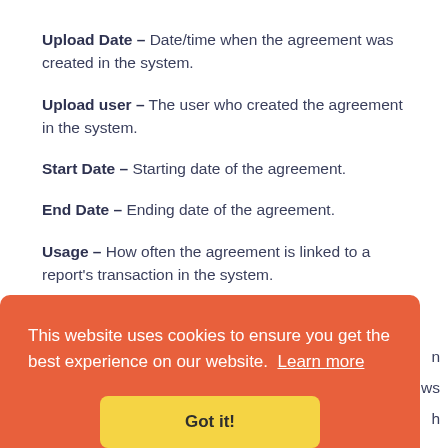Upload Date – Date/time when the agreement was created in the system.
Upload user – The user who created the agreement in the system.
Start Date – Starting date of the agreement.
End Date – Ending date of the agreement.
Usage – How often the agreement is linked to a report's transaction in the system.
This website uses cookies to ensure you get the best experience on our website. Learn more
Got it!